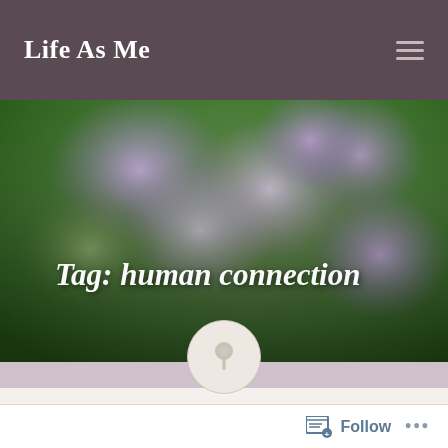Life As Me
[Figure (photo): Close-up photograph of purple/lavender flowers (likely wisteria or monkshood) against a green background, with text overlay 'Tag: human connection']
Tag: human connection
[Figure (illustration): A circular icon with a pin/thumbtack symbol in light gray]
Posted on 26/03/2020 5 Comments
Follow